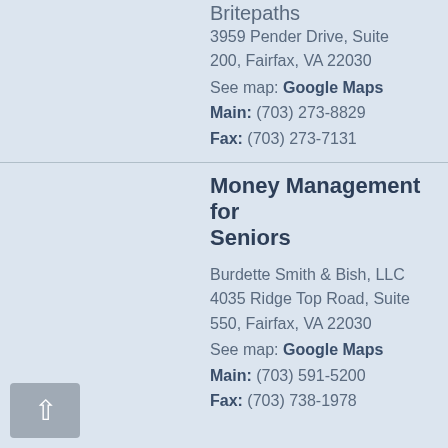Britepaths
3959 Pender Drive, Suite 200, Fairfax, VA 22030
See map: Google Maps
Main: (703) 273-8829
Fax: (703) 273-7131
Money Management for Seniors
Burdette Smith & Bish, LLC
4035 Ridge Top Road, Suite 550, Fairfax, VA 22030
See map: Google Maps
Main: (703) 591-5200
Fax: (703) 738-1978